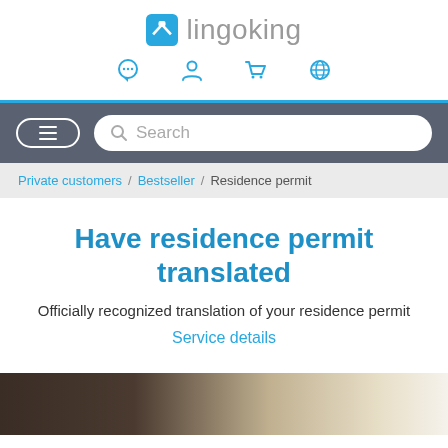lingoking
[Figure (screenshot): Navigation bar with search field and hamburger menu on dark grey background]
Private customers / Bestseller / Residence permit
Have residence permit translated
Officially recognized translation of your residence permit
Service details
[Figure (photo): Partial photo of documents/objects at the bottom of the page]